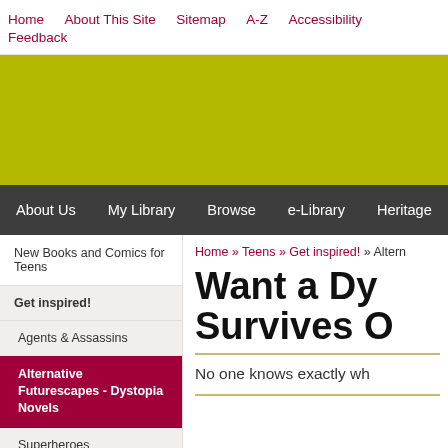Home | About This Site | Sitemap | A-Z | Accessibility | Feedback
[Figure (other): Olive/yellow-green banner image area]
About Us | My Library | Browse | e-Library | Heritage
New Books and Comics for Teens
Get inspired!
Agents & Assassins
Alternative Futurescapes - Dystopia Novels
Superheroes
Supernatural
Home » Teens » Get inspired! » Altern...
Want a Dy... Survives O...
No one knows exactly wh...